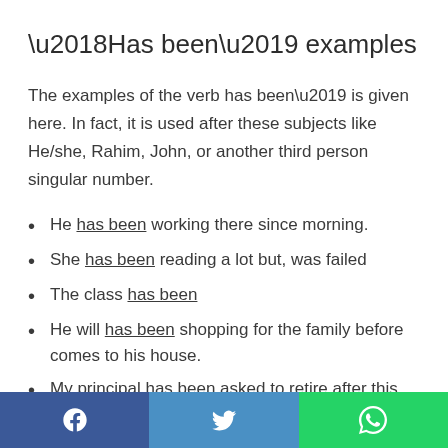‘Has been’ examples
The examples of the verb has been’ is given here. In fact, it is used after these subjects like He/she, Rahim, John, or another third person singular number.
He has been working there since morning.
She has been reading a lot but, was failed
The class has been
He will has been shopping for the family before comes to his house.
My principal has been asked to retire after this year.
My father has been informed about my duty.